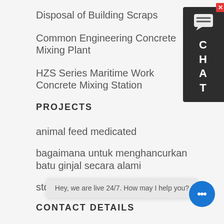Disposal of Building Scraps
Common Engineering Concrete Mixing Plant
HZS Series Maritime Work Concrete Mixing Station
PROJECTS
animal feed medicated
bagaimana untuk menghancurkan batu ginjal secara alami
stone crusher policy uttarakhand
CONTACT DETAILS
saleinfo@mixing
[Figure (other): Chat widget sidebar with close button, chat icon, and letters C H A T stacked vertically on dark background]
Hey, we are live 24/7. How may I help you?